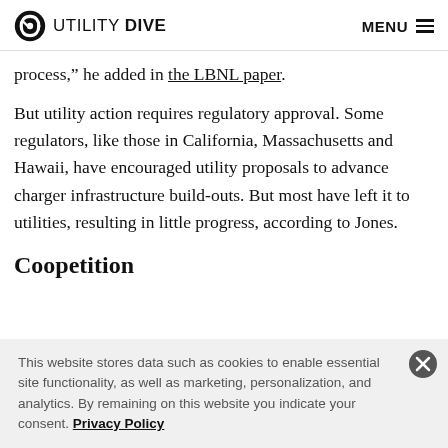UTILITY DIVE   MENU
process," he added in the LBNL paper.
But utility action requires regulatory approval. Some regulators, like those in California, Massachusetts and Hawaii, have encouraged utility proposals to advance charger infrastructure build-outs. But most have left it to utilities, resulting in little progress, according to Jones.
Coopetition
This website stores data such as cookies to enable essential site functionality, as well as marketing, personalization, and analytics. By remaining on this website you indicate your consent. Privacy Policy